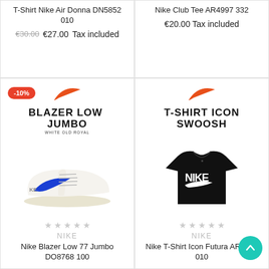T-Shirt Nike Air Donna DN5852 010
€30.00 €27.00 Tax included
Nike Club Tee AR4997 332
€20.00 Tax included
[Figure (photo): Nike Blazer Low 77 Jumbo sneaker in white with blue swoosh, product card with -10% discount badge, Nike swoosh logo, BLAZER LOW JUMBO text, star rating, NIKE brand, product name Nike Blazer Low 77 Jumbo DO8768 100]
[Figure (photo): Nike T-Shirt Icon Swoosh black t-shirt product card, Nike swoosh logo, T-SHIRT ICON SWOOSH text, star rating, NIKE brand, product name Nike T-Shirt Icon Futura AR5004 010]
Nike Blazer Low 77 Jumbo DO8768 100
Nike T-Shirt Icon Futura AR5004 010